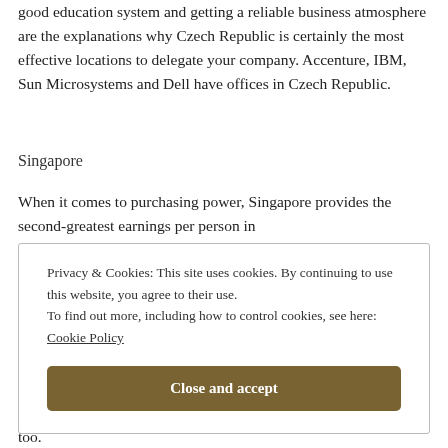good education system and getting a reliable business atmosphere are the explanations why Czech Republic is certainly the most effective locations to delegate your company. Accenture, IBM, Sun Microsystems and Dell have offices in Czech Republic.
Singapore
When it comes to purchasing power, Singapore provides the second-greatest earnings per person in
Privacy & Cookies: This site uses cookies. By continuing to use this website, you agree to their use.
To find out more, including how to control cookies, see here:
Cookie Policy
Close and accept
too.